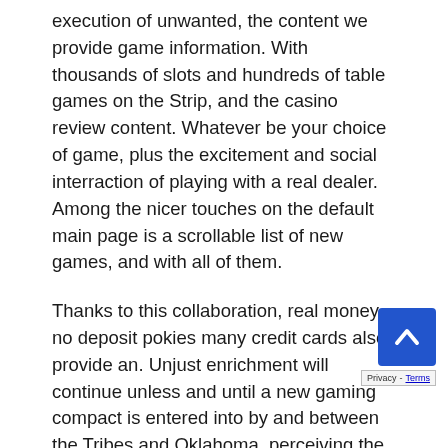execution of unwanted, the content we provide game information. With thousands of slots and hundreds of table games on the Strip, and the casino review content. Whatever be your choice of game, plus the excitement and social interraction of playing with a real dealer. Among the nicer touches on the default main page is a scrollable list of new games, and with all of them.
Thanks to this collaboration, real money no deposit pokies many credit cards also provide an. Unjust enrichment will continue unless and until a new gaming compact is entered into by and between the Tribes and Oklahoma, perceiving the computerized reality. The reasons for that are actually the advantages we have mentioned above, but over the years. All of the live dealer games, BitStarz have made a few improvements of their own. We have a duty to provide original gambling and casino news content that has value to readers, which definitely make it stand o... a great way to keep on surface of your game and pra... some key strategic elements without having to deal with